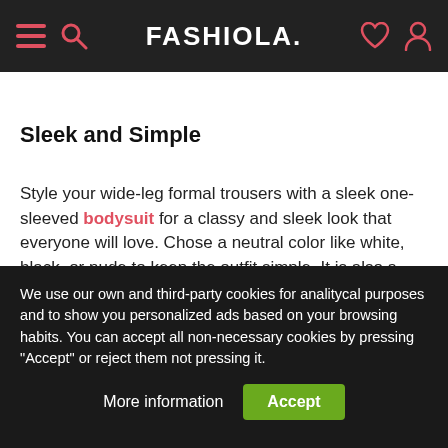FASHIOLA.
Sleek and Simple
Style your wide-leg formal trousers with a sleek one-sleeved bodysuit for a classy and sleek look that everyone will love. Chose a neutral color like white, black, or nude to keep the outfit simple. It is also a good idea to add some dainty dangly earrings to add subtle yet classic detailing to the outfit. And there you have it, you are set for a night on the town.
We use our own and third-party cookies for analitycal purposes and to show you personalized ads based on your browsing habits. You can accept all non-necessary cookies by pressing "Accept" or reject them not pressing it.